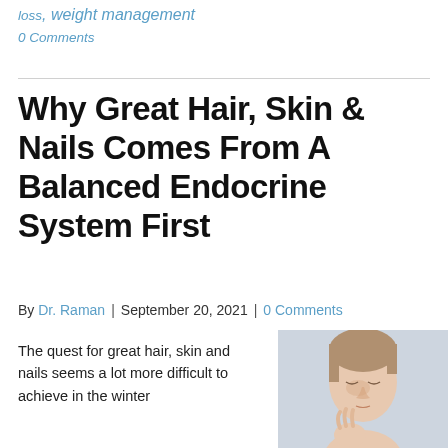loss, weight management
0 Comments
Why Great Hair, Skin & Nails Comes From A Balanced Endocrine System First
By Dr. Raman | September 20, 2021 | 0 Comments
The quest for great hair, skin and nails seems a lot more difficult to achieve in the winter
[Figure (photo): Woman looking downward, touching her chin thoughtfully, with light skin and hair pulled back, against a pale background.]